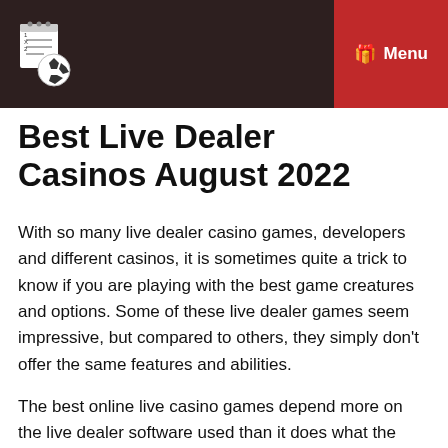Menu
Best Live Dealer Casinos August 2022
With so many live dealer casino games, developers and different casinos, it is sometimes quite a trick to know if you are playing with the best game creatures and options. Some of these live dealer games seem impressive, but compared to others, they simply don't offer the same features and abilities.
The best online live casino games depend more on the live dealer software used than it does what the casino offers. Sure, both are very important, but when it come games and playing with live dealers, it is the detail, fairness, and options that are important. With this guide, we will look at some of the most important features regarding live dealer games and